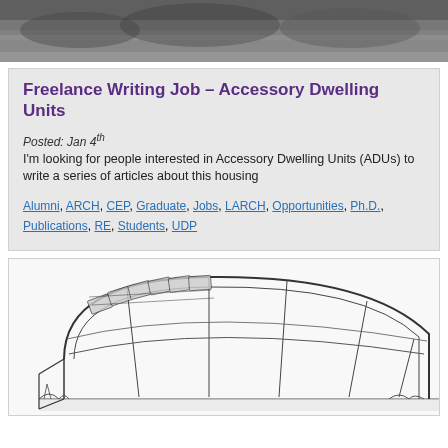[Figure (photo): Black and white photo of an outdoor landscape, partially cropped at top]
Freelance Writing Job – Accessory Dwelling Units
Posted: Jan 4th
I'm looking for people interested in Accessory Dwelling Units (ADUs) to write a series of articles about this housing
Alumni, ARCH, CEP, Graduate, Jobs, LARCH, Opportunities, Ph.D., Publications, RE, Students, UDP
[Figure (illustration): Pencil sketch illustration of a greenhouse or hoop house structure with arched roof and structural framing]